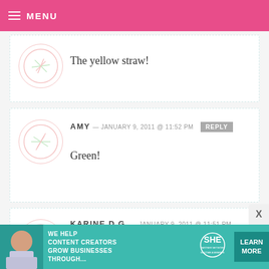MENU
The yellow straw!
AMY — JANUARY 9, 2011 @ 11:52 PM REPLY
Green!
KARINE D.G. — JANUARY 9, 2011 @ 11:51 PM REPLY
The red and blue one ^ – ^
[Figure (other): Advertisement banner for SHE Partner Network with tagline 'We help content creators grow businesses through...' and a Learn More button]